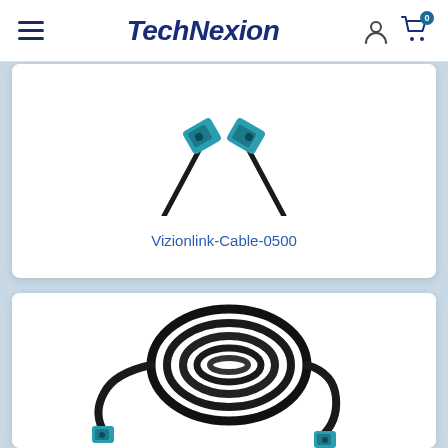TechNexion
[Figure (photo): TechNexion cable product image - Vizionlink-Cable-0500, showing two teal/blue FAKRA connectors at cable ends in a V shape]
Vizionlink-Cable-0500
[Figure (photo): Coiled black cable with teal connector visible at bottom, product listing image for a long cable]